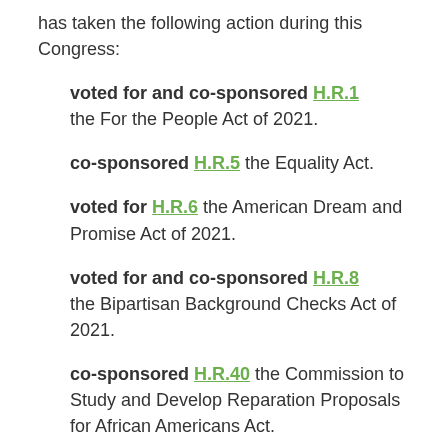has taken the following action during this Congress:
voted for and co-sponsored H.R.1 the For the People Act of 2021.
co-sponsored H.R.5 the Equality Act.
voted for H.R.6 the American Dream and Promise Act of 2021.
voted for and co-sponsored H.R.8 the Bipartisan Background Checks Act of 2021.
co-sponsored H.R.40 the Commission to Study and Develop Reparation Proposals for African Americans Act.
voted for and co-sponsored H.R.51